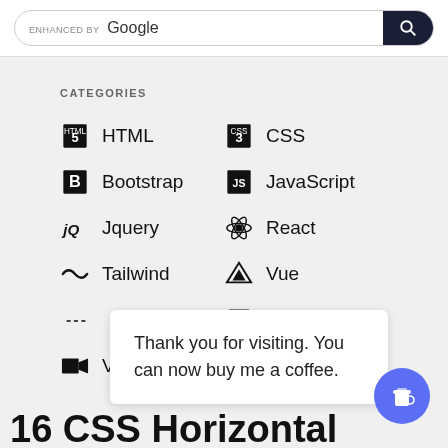[Figure (screenshot): Google search bar with 'ENHANCED BY Google' text and dark search button with magnifying glass icon]
CATEGORIES
HTML
CSS
Bootstrap
JavaScript
Jquery
React
Tailwind
Vue
---
Books
Video
Thank you for visiting. You can now buy me a coffee.
16 CSS Horizontal